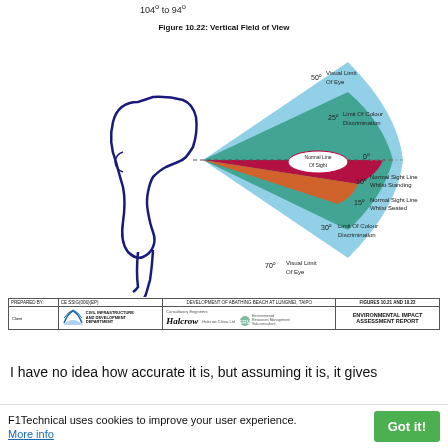104° to 94°
[Figure (infographic): Figure 10.22: Vertical Field of View diagram showing a side profile of a human head with fan-shaped coloured sectors indicating visual limits and sight lines. Light blue sector spans 50° above to 70° below (Visual Limit Of Eye). Teal/green sector spans 25° to 30° (Limit Of Colour Discrimination). Red/pink sector shows Normal Sight Line (0° to 10° Normal Sight Line Whilst Standing, 15° Normal Sight Line Whilst Seated). Orange sector below. Annotations label each zone with degree markers and descriptions.]
|  | CE SSIG(006)(EP) | DEVELOPMENT OF ABATHNG BEACH AT LUNGMEI, TAIPO | FIGURES 10.21 AND 10.22 |
| --- | --- | --- | --- |
| Client | CIVIL INFRASTRUCTURE AND DEVELOPMENT DEPARTMENT | Consultancy Engineer: Halcrow | ERM Environmental Resources Management Sub-consultant | ENVIRONMENTAL IMPACT ASSESSMENT REPORT |
I have no idea how accurate it is, but assuming it is, it gives
F1Technical uses cookies to improve your user experience.
More info
Got it!